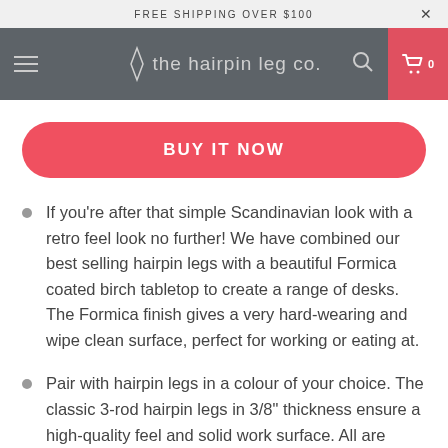FREE SHIPPING OVER $100
the hairpin leg co.
BUY IT NOW
If you're after that simple Scandinavian look with a retro feel look no further! We have combined our best selling hairpin legs with a beautiful Formica coated birch tabletop to create a range of desks. The Formica finish gives a very hard-wearing and wipe clean surface, perfect for working or eating at.
Pair with hairpin legs in a colour of your choice. The classic 3-rod hairpin legs in 3/8" thickness ensure a high-quality feel and solid work surface. All are professionally coated to ensure a long life looking good